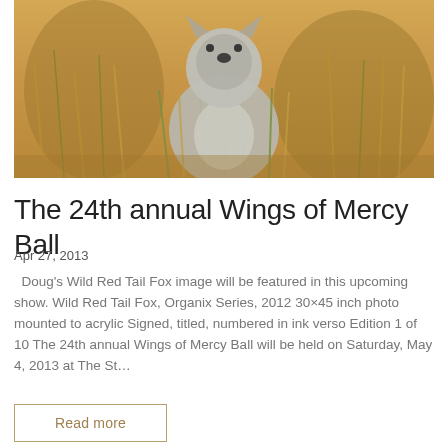[Figure (photo): Close-up photo of a wild fox or meerkat with grey/white fur, surrounded by dried grasses and green grass blades in a natural outdoor setting]
The 24th annual Wings of Mercy Ball
Apr 27, 2013
Doug's Wild Red Tail Fox image will be featured in this upcoming show. Wild Red Tail Fox, Organix Series, 2012 30×45 inch photo mounted to acrylic Signed, titled, numbered in ink verso Edition 1 of 10 The 24th annual Wings of Mercy Ball will be held on Saturday, May 4, 2013 at The St....
Read more